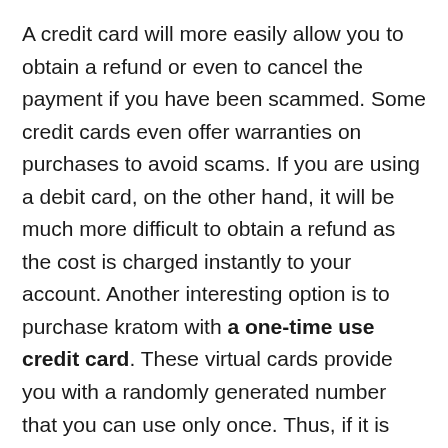A credit card will more easily allow you to obtain a refund or even to cancel the payment if you have been scammed. Some credit cards even offer warranties on purchases to avoid scams. If you are using a debit card, on the other hand, it will be much more difficult to obtain a refund as the cost is charged instantly to your account. Another interesting option is to purchase kratom with a one-time use credit card. These virtual cards provide you with a randomly generated number that you can use only once. Thus, if it is hacked or stolen during the purchase process, the thieves will not be able to use it again.